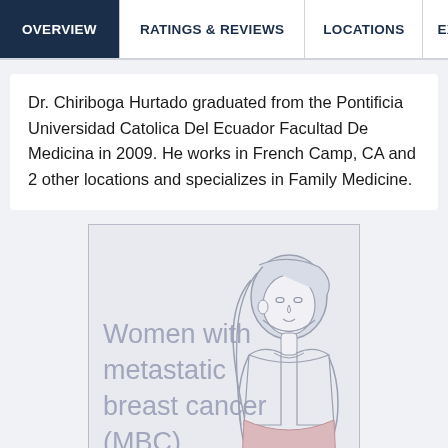OVERVIEW | RATINGS & REVIEWS | LOCATIONS | EX
Dr. Chiriboga Hurtado graduated from the Pontificia Universidad Catolica Del Ecuador Facultad De Medicina in 2009. He works in French Camp, CA and 2 other locations and specializes in Family Medicine.
[Figure (illustration): Advertisement illustration showing a woman with the text 'Women with metastatic breast cancer (MBC)' overlaid. The background is light gray-blue, and there is a soft line-art illustration of a woman with long hair wearing a sleeveless top. The text is rendered in a light muted gray color.]